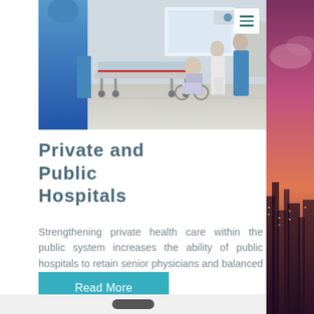[Figure (photo): Hospital corridor with medical staff in blue scrubs pushing a gurney/stretcher. In the background, a patient in a wheelchair is attended by healthcare workers in white coats and blue scrubs.]
Private and Public Hospitals
Strengthening private health care within the public system increases the ability of public hospitals to retain senior physicians and balanced budgets.
Read More